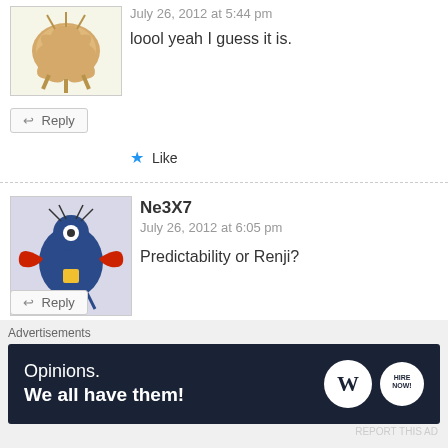July 26, 2012 at 5:44 pm
loool yeah I guess it is.
↩ Reply
★ Like
Ne3X7
July 26, 2012 at 6:05 pm
Predictability or Renji?
↩ Reply
★ Like
Sunite
July 26, 2012 at 6:18 pm
Advertisements
Opinions. We all have them!